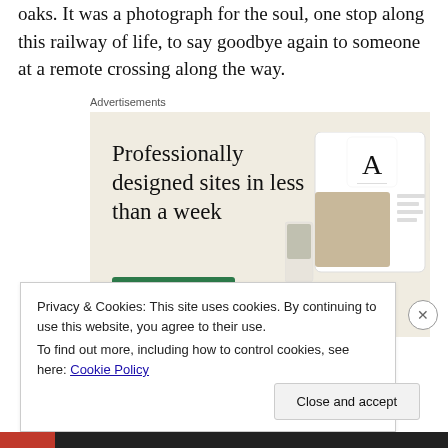oaks. It was a photograph for the soul, one stop along this railway of life, to say goodbye again to someone at a remote crossing along the way.
[Figure (screenshot): Advertisement banner with beige background. Large text reads 'Professionally designed sites in less than a week' with a green 'Explore options' button. On the right side are mockup screenshots of website designs.]
Privacy & Cookies: This site uses cookies. By continuing to use this website, you agree to their use.
To find out more, including how to control cookies, see here: Cookie Policy
Close and accept